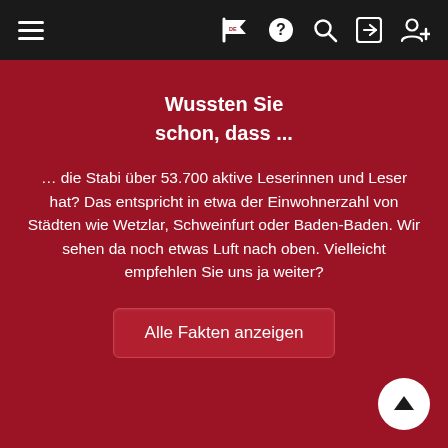≡  [flag icon] DE  [?]  [search]  [login]  [user+]
Wussten Sie
schon, dass ...
… die Stabi über 53.700 aktive Leserinnen und Leser hat? Das entspricht in etwa der Einwohnerzahl von Städten wie Wetzlar, Schweinfurt oder Baden-Baden. Wir sehen da noch etwas Luft nach oben. Vielleicht empfehlen Sie uns ja weiter?
Alle Fakten anzeigen